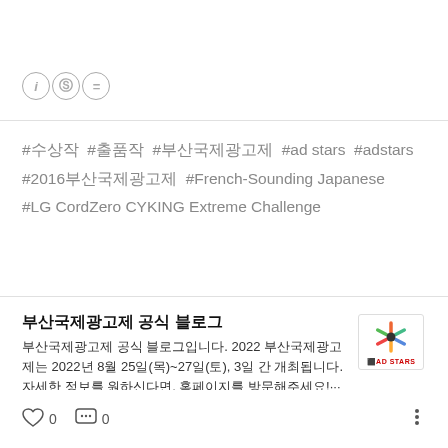[Figure (other): Three circular icons in a row: info (i), currency (S with circle), and equals (=) symbol]
#수상작  #출품작  #부산국제광고제  #ad stars  #adstars  #2016부산국제광고제  #French-Sounding Japanese  #LG CordZero CYKING Extreme Challenge
부산국제광고제 공식 블로그
부산국제광고제 공식 블로그입니다. 2022 부산국제광고제는 2022년 8월 25일(목)~27일(토), 3일 간 개최됩니다. 자세한 정보를 원하신다면, 홈페이지를 방문해주세요!···
[Figure (logo): MAD STARS colorful star logo with text MAD STARS below]
0  0